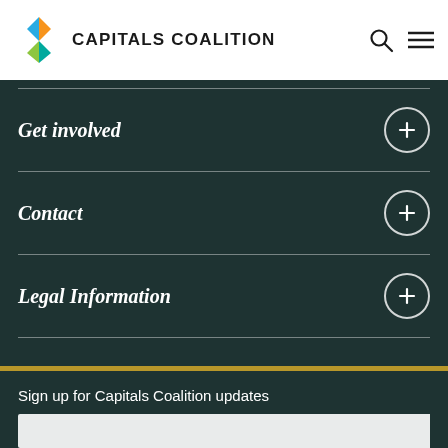CAPITALS COALITION
Get involved
Contact
Legal Information
Sign up for Capitals Coalition updates